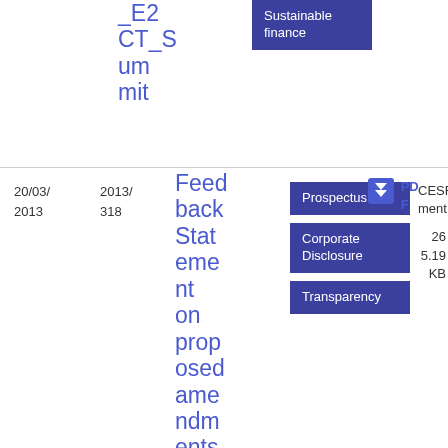CT_Summit
Sustainable finance
20/03/2013
2013/318
Feedback Statement on proposed amendments to the ESMA update of the
Prospectus
Corporate Disclosure
Transparency
CESR Document
PDF
26 5.19 KB